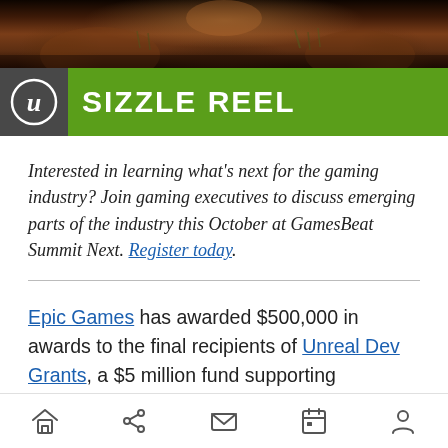[Figure (photo): Partial top banner showing a desert/rocky landscape with red rocks and dry vegetation, darkened at edges.]
[Figure (logo): Unreal Engine logo (stylized U with circular border) on dark background, followed by green banner with 'SIZZLE REEL' text in white bold caps.]
Interested in learning what's next for the gaming industry? Join gaming executives to discuss emerging parts of the industry this October at GamesBeat Summit Next. Register today.
Epic Games has awarded $500,000 in awards to the final recipients of Unreal Dev Grants, a $5 million fund supporting developers working with Unreal
[Figure (other): Bottom navigation bar with home, share, email, calendar, and user account icons.]